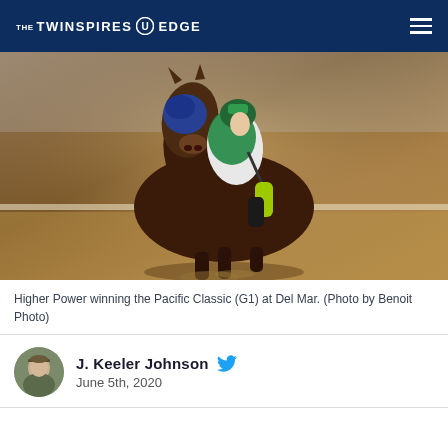THE TWINSPIRES EDGE
[Figure (photo): A racehorse (Higher Power) with jockey in green and white silks racing on a dirt track at Del Mar, viewed from head-on, wearing a blue hood.]
Higher Power winning the Pacific Classic (G1) at Del Mar. (Photo by Benoit Photo)
J. Keeler Johnson  June 5th, 2020